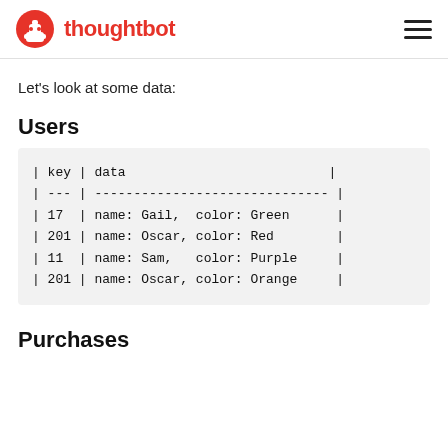thoughtbot
Let's look at some data:
Users
| key | data |
| --- | --- |
| 17 | name: Gail,  color: Green |
| 201 | name: Oscar, color: Red |
| 11 | name: Sam,   color: Purple |
| 201 | name: Oscar, color: Orange |
Purchases